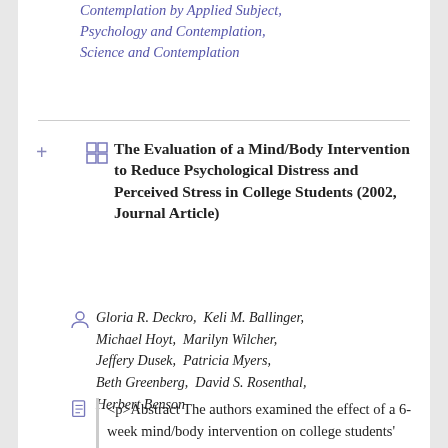Contemplation by Applied Subject, Psychology and Contemplation, Science and Contemplation
The Evaluation of a Mind/Body Intervention to Reduce Psychological Distress and Perceived Stress in College Students (2002, Journal Article)
Gloria R. Deckro, Keli M. Ballinger, Michael Hoyt, Marilyn Wilcher, Jeffery Dusek, Patricia Myers, Beth Greenberg, David S. Rosenthal, Herbert Benson
<p>Abstract The authors examined the effect of a 6-week mind/body intervention on college students' psychological distress, anxiety, and